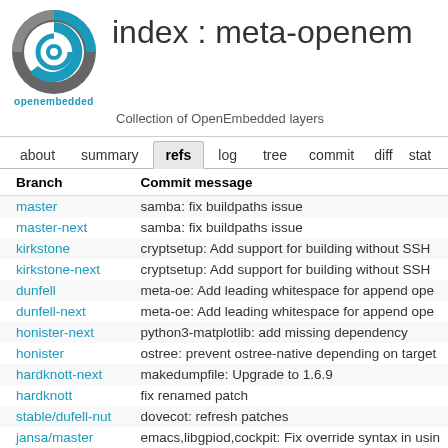[Figure (logo): OpenEmbedded circular logo in teal and gray]
index : meta-openem
Collection of OpenEmbedded layers
|  | about | summary | refs | log | tree | commit | diff | stat |
| --- | --- | --- | --- | --- | --- | --- | --- | --- |
| Branch | Commit message |
| --- | --- |
| master | samba: fix buildpaths issue |
| master-next | samba: fix buildpaths issue |
| kirkstone | cryptsetup: Add support for building without SSH |
| kirkstone-next | cryptsetup: Add support for building without SSH |
| dunfell | meta-oe: Add leading whitespace for append ope |
| dunfell-next | meta-oe: Add leading whitespace for append ope |
| honister-next | python3-matplotlib: add missing dependency |
| honister | ostree: prevent ostree-native depending on target |
| hardknott-next | makedumpfile: Upgrade to 1.6.9 |
| hardknott | fix renamed patch |
| stable/dufell-nut | dovecot: refresh patches |
| jansa/master | emacs,libgpiod,cockpit: Fix override syntax in usin |
| kraj/dunfell | dovecot: add CVE-2016-4983 to allowlist |
| gatesgarth | ostree: switch from default master branch to main |